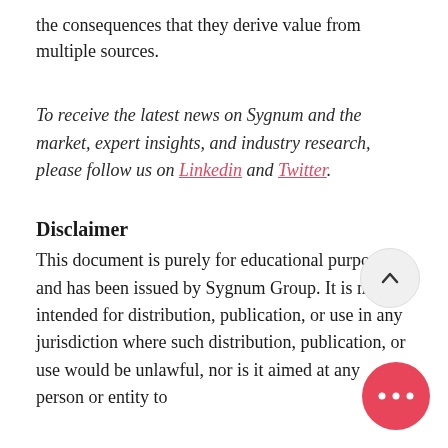the consequences that they derive value from multiple sources.
To receive the latest news on Sygnum and the market, expert insights, and industry research, please follow us on Linkedin and Twitter.
Disclaimer
This document is purely for educational purposes and has been issued by Sygnum Group. It is not intended for distribution, publication, or use in any jurisdiction where such distribution, publication, or use would be unlawful, nor is it aimed at any person or entity to